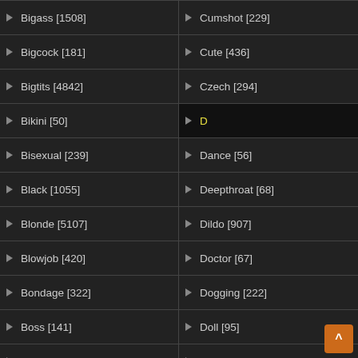Bigass [1508]
Cumshot [229]
Bigcock [181]
Cute [436]
Bigtits [4842]
Czech [294]
Bikini [50]
D
Bisexual [239]
Dance [56]
Black [1055]
Deepthroat [68]
Blonde [5107]
Dildo [907]
Blowjob [420]
Doctor [67]
Bondage [322]
Dogging [222]
Boss [141]
Doll [95]
Bound [143]
Dolls [95]
Boyfriend [145]
Domination [222]
Brazil [337]
Double [178]